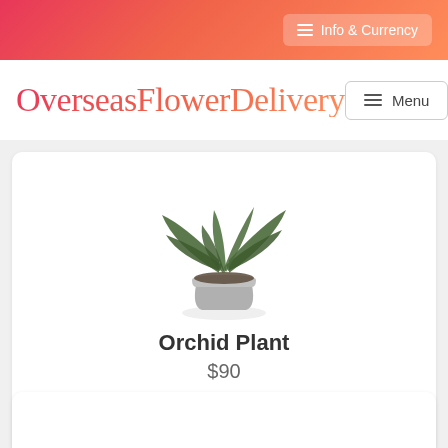Info & Currency
OverseasFlowerDelivery
[Figure (photo): Small orchid plant with dark green leaves in a grey pot, photographed on white background]
Orchid Plant
$90
View & Buy
White Phalaenopsis Plant. Pot may vary.